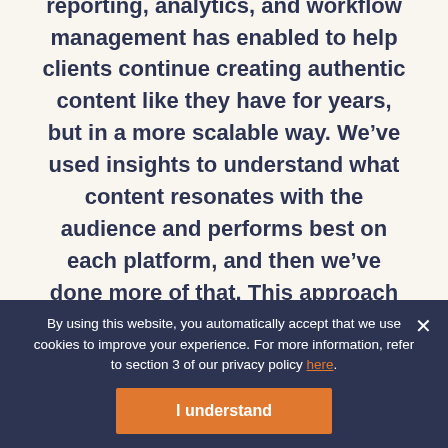“Using Agorapulse’s advanced reporting, analytics, and workflow management has enabled to help clients continue creating authentic content like they have for years, but in a more scalable way. We’ve used insights to understand what content resonates with the audience and performs best on each platform, and then we’ve done more of that. This approach helps us to be flexible, proactive, and
By using this website, you automatically accept that we use cookies to improve your experience. For more information, refer to section 3 of our privacy policy here.